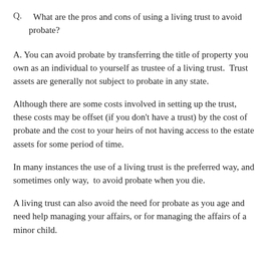Q.  What are the pros and cons of using a living trust to avoid probate?
A. You can avoid probate by transferring the title of property you own as an individual to yourself as trustee of a living trust.  Trust assets are generally not subject to probate in any state.
Although there are some costs involved in setting up the trust, these costs may be offset (if you don't have a trust) by the cost of probate and the cost to your heirs of not having access to the estate assets for some period of time.
In many instances the use of a living trust is the preferred way, and sometimes only way,  to avoid probate when you die.
A living trust can also avoid the need for probate as you age and need help managing your affairs, or for managing the affairs of a minor child.